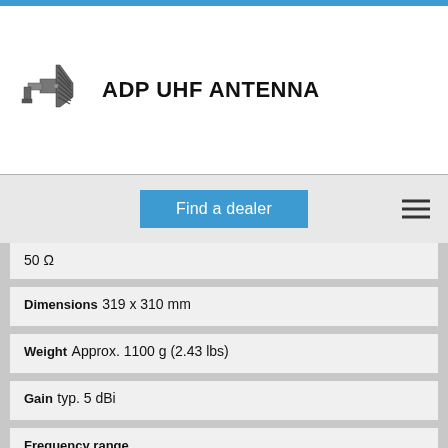ADP UHF ANTENNA
Find a dealer
50 Ω
Dimensions
319 x 310 mm
Weight
Approx. 1100 g (2.43 lbs)
Gain
typ. 5 dBi
Frequency range